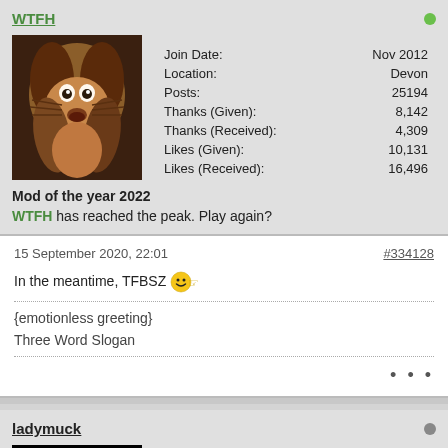WTFH
[Figure (photo): Profile photo of a brown and white springer spaniel dog looking up]
| Join Date: | Nov 2012 |
| Location: | Devon |
| Posts: | 25194 |
| Thanks (Given): | 8,142 |
| Thanks (Received): | 4,309 |
| Likes (Given): | 10,131 |
| Likes (Received): | 16,496 |
Mod of the year 2022
WTFH has reached the peak. Play again?
15 September 2020, 22:01
#334128
In the meantime, TFBSZ 🙂☞
{emotionless greeting}
Three Word Slogan
ladymuck
[Figure (photo): Partial avatar showing two glowing eyes on black background]